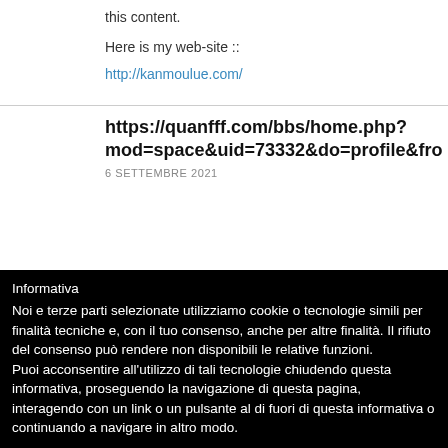this content.
Here is my web-site ::
http://kanmoulue.com/
https://quanfff.com/bbs/home.php?mod=space&uid=73332&do=profile&from
6 SETTEMBRE 2021
Informativa
Noi e terze parti selezionate utilizziamo cookie o tecnologie simili per finalità tecniche e, con il tuo consenso, anche per altre finalità. Il rifiuto del consenso può rendere non disponibili le relative funzioni.
Puoi acconsentire all'utilizzo di tali tecnologie chiudendo questa informativa, proseguendo la navigazione di questa pagina, interagendo con un link o un pulsante al di fuori di questa informativa o continuando a navigare in altro modo.